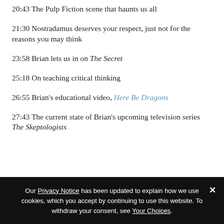20:43 The Pulp Fiction scene that haunts us all
21:30 Nostradamus deserves your respect, just not for the reasons you may think
23:58 Brian lets us in on The Secret
25:18 On teaching critical thinking
26:55 Brian's educational video, Here Be Dragons
27:43 The current state of Brian's upcoming television series The Skeptologists
Our Privacy Notice has been updated to explain how we use cookies, which you accept by continuing to use this website. To withdraw your consent, see Your Choices.